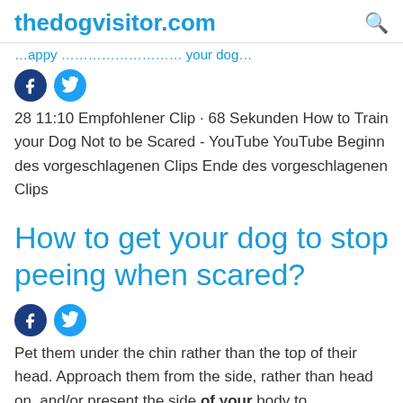thedogvisitor.com
…appy …your dog…
[Figure (other): Facebook and Twitter social share buttons]
28 11:10 Empfohlener Clip · 68 Sekunden How to Train your Dog Not to be Scared - YouTube YouTube Beginn des vorgeschlagenen Clips Ende des vorgeschlagenen Clips
How to get your dog to stop peeing when scared?
[Figure (other): Facebook and Twitter social share buttons]
Pet them under the chin rather than the top of their head. Approach them from the side, rather than head on, and/or present the side of your body to